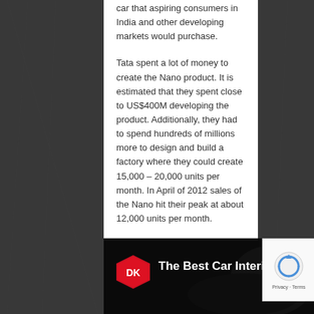car that aspiring consumers in India and other developing markets would purchase.
Tata spent a lot of money to create the Nano product. It is estimated that they spent close to US$400M developing the product. Additionally, they had to spend hundreds of millions more to design and build a factory where they could create 15,000 – 20,000 units per month. In April of 2012 sales of the Nano hit their peak at about 12,000 units per month.
[Figure (screenshot): Video thumbnail showing 'The Best Car Interi...' with DK logo (red shield shape with DK text) on dark background showing car interior]